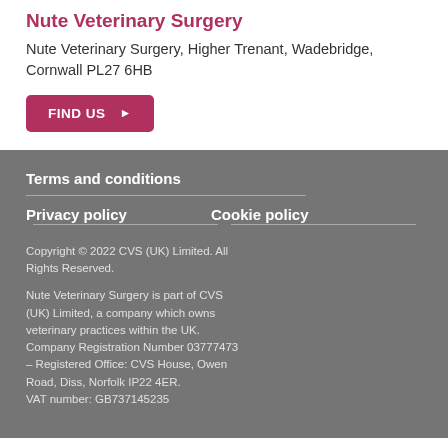Nute Veterinary Surgery
Nute Veterinary Surgery, Higher Trenant, Wadebridge, Cornwall PL27 6HB
FIND US
Terms and conditions
Privacy policy
Cookie policy
Copyright © 2022 CVS (UK) Limited. All Rights Reserved.
Nute Veterinary Surgery is part of CVS (UK) Limited, a company which owns veterinary practices within the UK. Company Registration Number 03777473 – Registered Office: CVS House, Owen Road, Diss, Norfolk IP22 4ER. VAT number: GB737145235